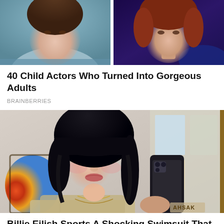[Figure (photo): Two cropped photos side by side showing faces of child actors who became adults — left shows a young woman with brown hair against a teal background, right shows a woman with auburn hair against a dark purple background]
40 Child Actors Who Turned Into Gorgeous Adults
BRAINBERRIES
[Figure (photo): Mirror selfie of Billie Eilish with black mullet-style hair with bangs, greenish eyes, holding a phone, wearing a beige top and chain necklace, with colorful artwork visible in background]
Billie Eilish Sports A Shocking Swimsuit That Stuns Fans
TRAITSLAB